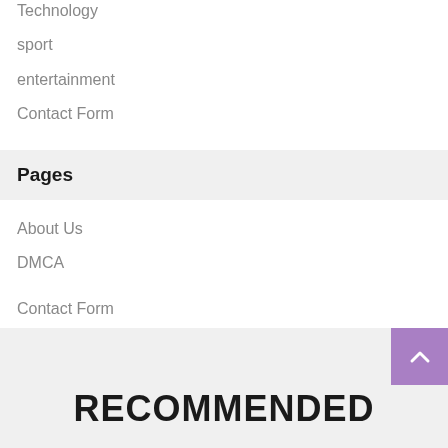Technology
sport
entertainment
Contact Form
Pages
About Us
DMCA
Contact Form
Privacy Policy
RECOMMENDED